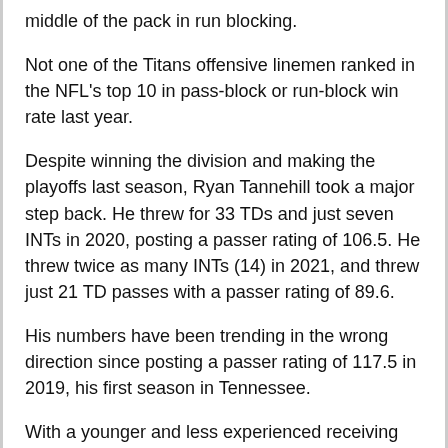middle of the pack in run blocking.
Not one of the Titans offensive linemen ranked in the NFL's top 10 in pass-block or run-block win rate last year.
Despite winning the division and making the playoffs last season, Ryan Tannehill took a major step back. He threw for 33 TDs and just seven INTs in 2020, posting a passer rating of 106.5. He threw twice as many INTs (14) in 2021, and threw just 21 TD passes with a passer rating of 89.6.
His numbers have been trending in the wrong direction since posting a passer rating of 117.5 in 2019, his first season in Tennessee.
With a younger and less experienced receiving corps, an inferior offensive line and a star running back coming off an injury-riddled season, he could be in for a world of hurt in 2022.
I am going to suggest taking the points here with the